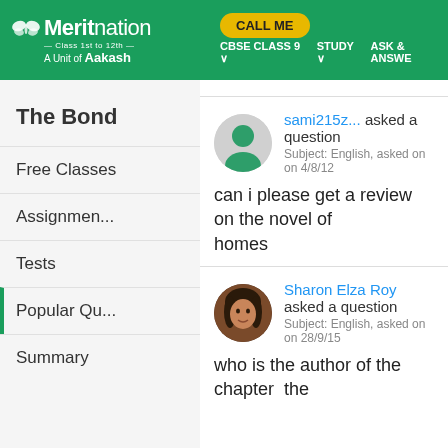[Figure (screenshot): Meritnation website header with logo, CALL ME button, and navigation links (CBSE CLASS 9, STUDY, ASK & ANSWE...)]
The Bond
Free Classes
Assignments
Tests
Popular Qu
Summary
sami215z... asked a question
Subject: English, asked on on 4/8/12
can i please get a review on the novel of homes
Sharon Elza Roy asked a question
Subject: English, asked on on 28/9/15
who is the author of the chapter  the